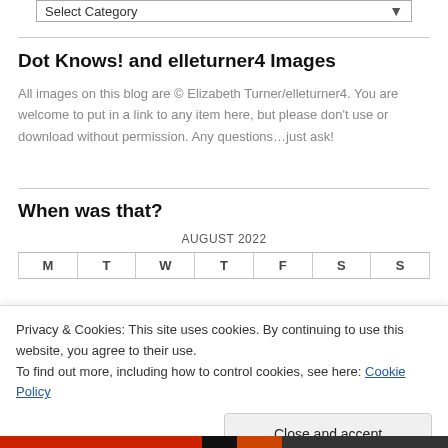[Figure (screenshot): Select Category dropdown bar at top of page]
Dot Knows! and elleturner4 Images
All images on this blog are © Elizabeth Turner/elleturner4. You are welcome to put in a link to any item here, but please don't use or download without permission. Any questions…just ask!
When was that?
AUGUST 2022
| M | T | W | T | F | S | S |
| --- | --- | --- | --- | --- | --- | --- |
Privacy & Cookies: This site uses cookies. By continuing to use this website, you agree to their use.
To find out more, including how to control cookies, see here: Cookie Policy